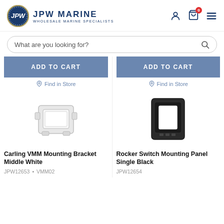[Figure (logo): JPW Marine logo — circular blue badge with 'JPW' monogram and rope border, beside the text 'JPW MARINE / WHOLESALE MARINE SPECIALISTS']
What are you looking for?
ADD TO CART
Find in Store
ADD TO CART
Find in Store
[Figure (photo): White plastic Carling VMM mounting bracket middle piece]
[Figure (photo): Black rocker switch mounting panel single hole]
Carling VMM Mounting Bracket Middle White
JPW12653  •  VMM02
Rocker Switch Mounting Panel Single Black
JPW12654